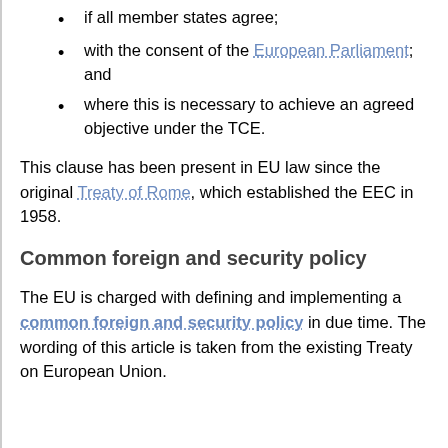if all member states agree;
with the consent of the European Parliament; and
where this is necessary to achieve an agreed objective under the TCE.
This clause has been present in EU law since the original Treaty of Rome, which established the EEC in 1958.
Common foreign and security policy
The EU is charged with defining and implementing a common foreign and security policy in due time. The wording of this article is taken from the existing Treaty on European Union.